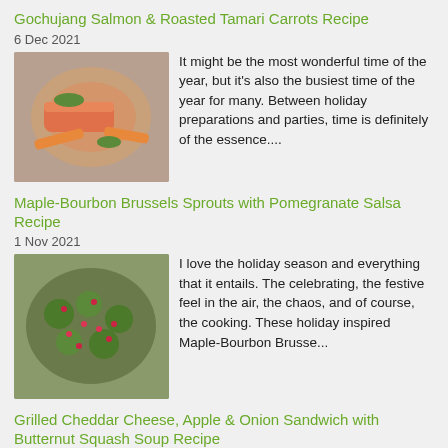Gochujang Salmon & Roasted Tamari Carrots Recipe
6 Dec 2021
[Figure (photo): Plate of gochujang salmon with roasted tamari carrots]
It might be the most wonderful time of the year, but it's also the busiest time of the year for many. Between holiday preparations and parties, time is definitely of the essence....
Maple-Bourbon Brussels Sprouts with Pomegranate Salsa Recipe
1 Nov 2021
[Figure (photo): Bowl of maple-bourbon brussels sprouts with pomegranate salsa]
I love the holiday season and everything that it entails. The celebrating, the festive feel in the air, the chaos, and of course, the cooking. These holiday inspired Maple-Bourbon Brusse...
Grilled Cheddar Cheese, Apple & Onion Sandwich with Butternut Squash Soup Recipe
12 Oct 2021
[Figure (photo): Bowl of butternut squash soup]
Cooler Fall evenings in Florida are right around the corner (or at least I hope) and it's during this time of year that I really ramp up soup production in the kitchen. I know that...